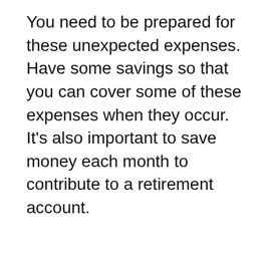You need to be prepared for these unexpected expenses. Have some savings so that you can cover some of these expenses when they occur. It's also important to save money each month to contribute to a retirement account.